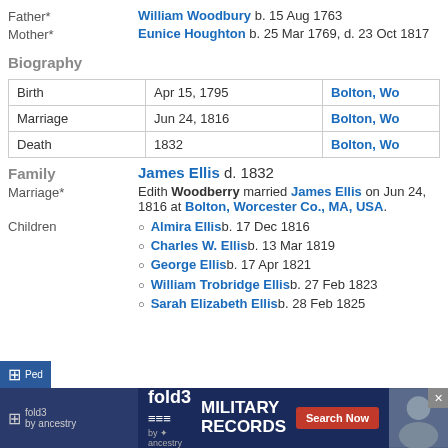Father* William Woodbury b. 15 Aug 1763
Mother* Eunice Houghton b. 25 Mar 1769, d. 23 Oct 1817
Biography
|  | Date | Place |
| --- | --- | --- |
| Birth | Apr 15, 1795 | Bolton, Wo... |
| Marriage | Jun 24, 1816 | Bolton, Wo... |
| Death | 1832 | Bolton, Wo... |
Family James Ellis d. 1832
Marriage* Edith Woodberry married James Ellis on Jun 24, 1816 at Bolton, Worcester Co., MA, USA.
Almira Ellis b. 17 Dec 1816
Charles W. Ellis b. 13 Mar 1819
George Ellis b. 17 Apr 1821
William Trobridge Ellis b. 27 Feb 1823
Sarah Elizabeth Ellis b. 28 Feb 1825
[Figure (screenshot): fold3 by Ancestry advertisement banner for Military Records with Search Now button]